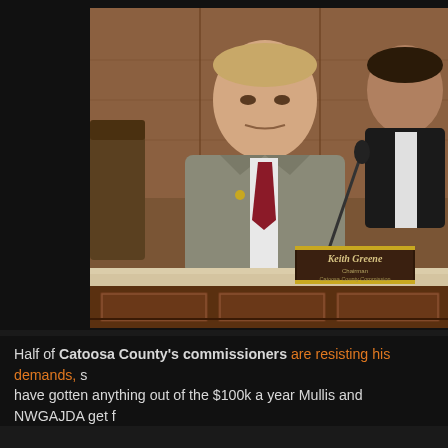[Figure (photo): A man in a gray suit with a dark red tie sits at a wooden council chamber dais. A nameplate reading 'Keith Greene' is visible on the desk in front of him. A microphone is positioned near him. Another person in a dark suit is partially visible on the right. The setting appears to be a government or county commission meeting room with dark wood paneling.]
Half of Catoosa County's commissioners are resisting his demands, s have gotten anything out of the $100k a year Mullis and NWGAJDA get f